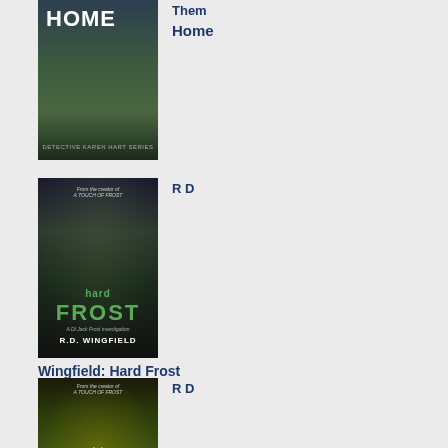[Figure (illustration): Book cover: HOME - Detective Karen Hart Series, showing a figure in a misty field]
Them
Home
[Figure (illustration): Book cover: Hard Frost by R.D. Wingfield, showing dark foggy forest with green title text]
R D
Wingfield: Hard Frost
[Figure (illustration): Book cover: Night Frost by R.D. Wingfield, showing a yellow-green lit road at night]
R D